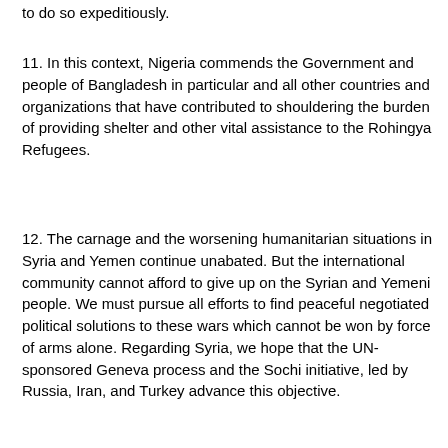to do so expeditiously.
11. In this context, Nigeria commends the Government and people of Bangladesh in particular and all other countries and organizations that have contributed to shouldering the burden of providing shelter and other vital assistance to the Rohingya Refugees.
12. The carnage and the worsening humanitarian situations in Syria and Yemen continue unabated. But the international community cannot afford to give up on the Syrian and Yemeni people. We must pursue all efforts to find peaceful negotiated political solutions to these wars which cannot be won by force of arms alone. Regarding Syria, we hope that the UN-sponsored Geneva process and the Sochi initiative, led by Russia, Iran, and Turkey advance this objective.